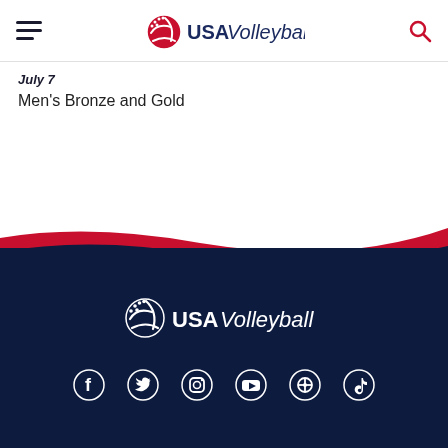USA Volleyball
July 7
Men's Bronze and Gold
[Figure (logo): USA Volleyball footer logo on dark navy background with social media icons (Facebook, Twitter, Instagram, YouTube, Pinterest, TikTok)]